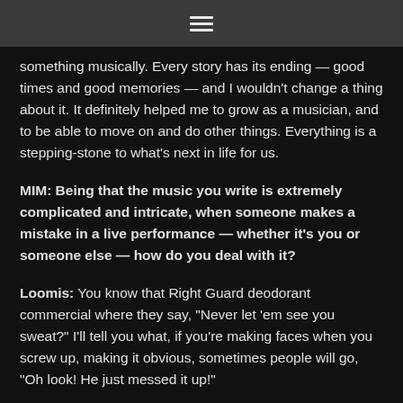☰
something musically. Every story has its ending — good times and good memories — and I wouldn't change a thing about it. It definitely helped me to grow as a musician, and to be able to move on and do other things. Everything is a stepping-stone to what's next in life for us.
MIM: Being that the music you write is extremely complicated and intricate, when someone makes a mistake in a live performance — whether it's you or someone else — how do you deal with it?
Loomis: You know that Right Guard deodorant commercial where they say, "Never let 'em see you sweat?" I'll tell you what, if you're making faces when you screw up, making it obvious, sometimes people will go, "Oh look! He just messed it up!"